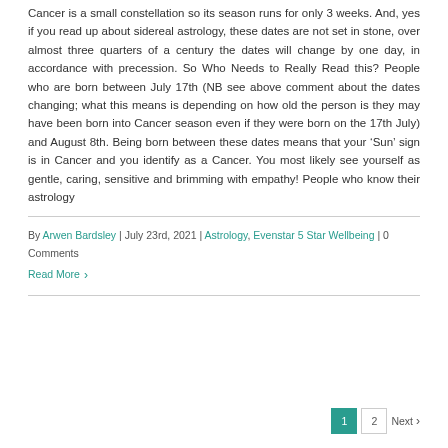Cancer is a small constellation so its season runs for only 3 weeks. And, yes if you read up about sidereal astrology, these dates are not set in stone, over almost three quarters of a century the dates will change by one day, in accordance with precession. So Who Needs to Really Read this? People who are born between July 17th (NB see above comment about the dates changing; what this means is depending on how old the person is they may have been born into Cancer season even if they were born on the 17th July) and August 8th. Being born between these dates means that your ‘Sun’ sign is in Cancer and you identify as a Cancer. You most likely see yourself as gentle, caring, sensitive and brimming with empathy! People who know their astrology
By Arwen Bardsley | July 23rd, 2021 | Astrology, Evenstar 5 Star Wellbeing | 0 Comments
Read More
1 2 Next